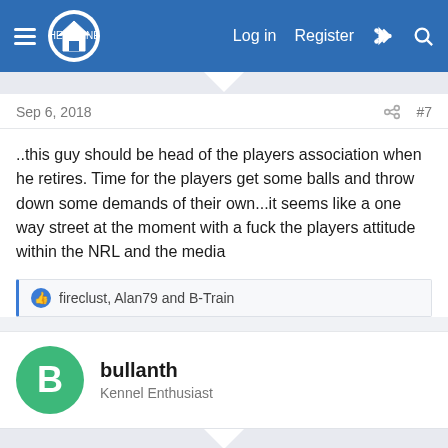The Kennel | Log in | Register
Sep 6, 2018   #7
..this guy should be head of the players association when he retires. Time for the players get some balls and throw down some demands of their own...it seems like a one way street at the moment with a fuck the players attitude within the NRL and the media
fireclust, Alan79 and B-Train
bullanth
Kennel Enthusiast
Sep 6, 2018   #8
Firstly what we must do,is stick solid,behind club and players,I have just canceled my daily telegraph digital,will not watch another episode with that dickhead journo,on Fox